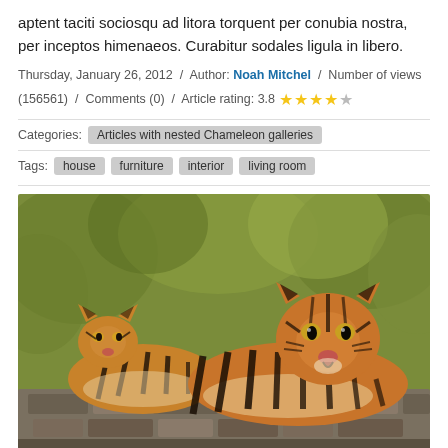aptent taciti sociosqu ad litora torquent per conubia nostra, per inceptos himenaeos. Curabitur sodales ligula in libero.
Thursday, January 26, 2012 / Author: Noah Mitchel / Number of views (156561) / Comments (0) / Article rating: 3.8 ★★★★☆
Categories: Articles with nested Chameleon galleries
Tags: house furniture interior living room
[Figure (photo): Two tigers resting on a stone ledge with green foliage in the background. A larger tiger on the right faces the camera with mouth slightly open, and a smaller tiger on the left looks to the side.]